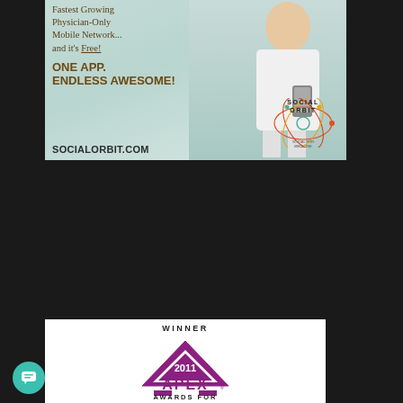[Figure (advertisement): Social Orbit advertisement showing a female physician in white coat holding a phone, with text: 'Fastest Growing Physician-Only Mobile Network... and it's Free! ONE APP. ENDLESS AWESOME!' and SOCIALORBIT.COM, on a light teal/green background with Social Orbit logo]
[Figure (advertisement): APEX Awards 2011 Winner badge/logo on white background with purple triangle/chevron APEX logo and text WINNER 2011 APEX AWARDS FOR]